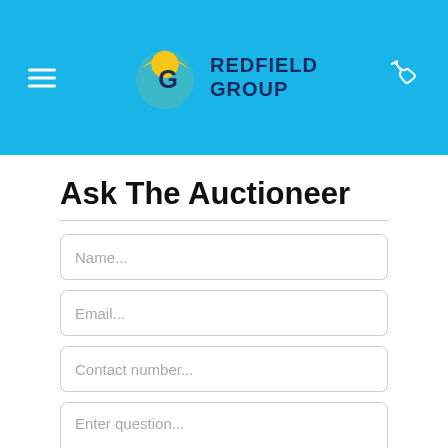[Figure (logo): Redfield Group logo with blue/yellow globe icon and dark blue text 'REDFIELD GROUP']
Ask The Auctioneer
Name...
Email...
Contact number...
Enter question...